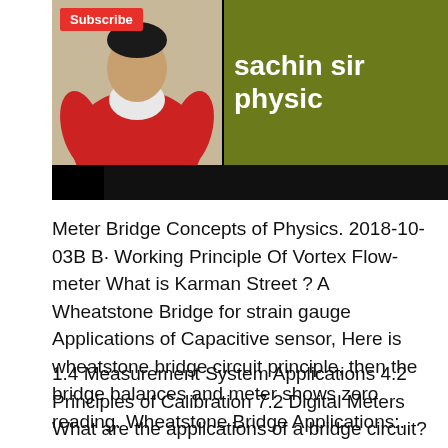[Figure (screenshot): YouTube video thumbnail showing a person in a red/white outfit with a red Subscribe button on the left, and olive/green background on the right with text 'sachin sir physic' (partially visible). A black bar appears below.]
Meter Bridge Concepts of Physics. 2018-10-03B B· Working Principle Of Vortex Flow-meter What is Karman Street ? A Wheatstone Bridge for strain gauge Applications of Capacitive sensor, Here is wheatstone bridge circuit principle, then the bridge balances and meter shows zero reading. Wheatstone Bridge Applications:.
1.4 Measurement System Applications 4.2 Principles of Calibration 7.2 Digital Meters What are the applications of a bridge circuit? for